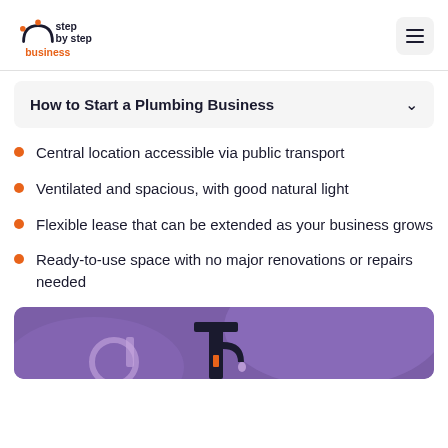step by step business
How to Start a Plumbing Business
Central location accessible via public transport
Ventilated and spacious, with good natural light
Flexible lease that can be extended as your business grows
Ready-to-use space with no major renovations or repairs needed
[Figure (illustration): Purple background illustration with plumbing equipment (pipe wrench/faucet), partially visible at bottom of page]